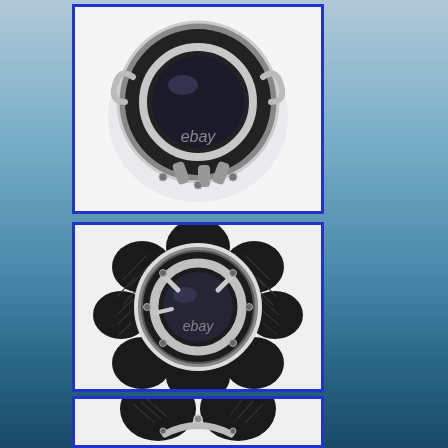[Figure (photo): Motorcycle air cleaner/intake filter component, round black and chrome design with clear center lens, front view, with 'ebay' watermark. Shown on white background with blue border.]
[Figure (photo): Motorcycle air cleaner/intake filter component, turbine/flower-shaped black and chrome design with ribbed fins and clear center lens, front-angled view, with 'ebay' watermark. Shown on white background with blue border.]
[Figure (photo): Motorcycle air cleaner/intake filter component, similar turbine-shaped black and chrome design, top-angled view showing the ribbed fins, partially visible, with blue border.]